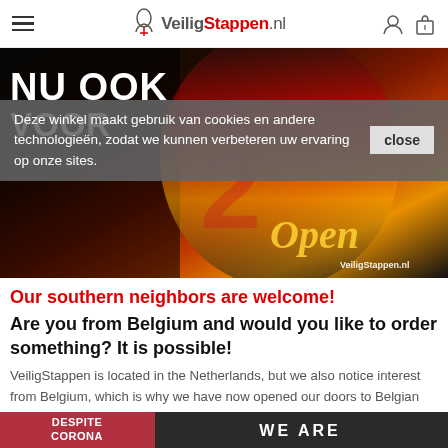VeiligStappen.nl (navigation bar with hamburger menu, logo, account and cart icons)
[Figure (photo): Hero banner image with dark background, Belgian flag colors (red, yellow, black), text 'NU OOK VOOR' at top left in white bold uppercase, cursive 'Open' text in gold/yellow at bottom right, VeiligStappen.nl logo overlay at bottom right corner]
Deze winkel maakt gebruik van cookies en andere technologieën, zodat we kunnen verbeteren uw ervaring op onze sites.
Our southern neighbors are welcome!
Are you from Belgium and would you like to order something? It is possible!
VeiligStappen is located in the Netherlands, but we also notice interest from Belgium, which is why we have now opened our doors to Belgian visitors! Do you see something you want; order and we will get to work for you!
[Figure (photo): Bottom banner split: left side dark red/wine color with 'DESPITE CORONA WE ARE' text in white bold uppercase; right side dark background with 'WE ARE OPEN' sign held by person]